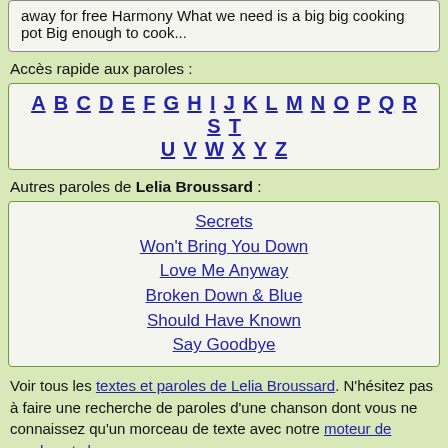away for free Harmony What we need is a big big cooking pot Big enough to cook...
Accès rapide aux paroles :
A B C D E F G H I J K L M N O P Q R S T U V W X Y Z
Autres paroles de Lelia Broussard :
Secrets
Won't Bring You Down
Love Me Anyway
Broken Down & Blue
Should Have Known
Say Goodbye
Voir tous les textes et paroles de Lelia Broussard. N'hésitez pas à faire une recherche de paroles d'une chanson dont vous ne connaissez qu'un morceau de texte avec notre moteur de paroles et chansons